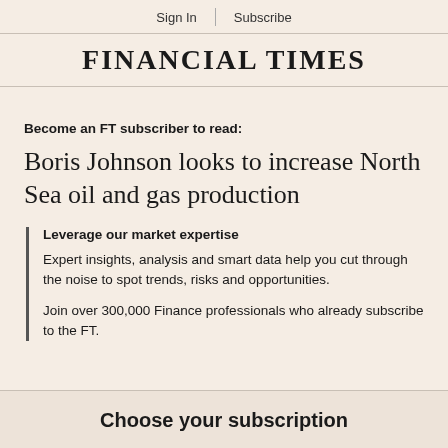Sign In | Subscribe
FINANCIAL TIMES
Become an FT subscriber to read:
Boris Johnson looks to increase North Sea oil and gas production
Leverage our market expertise
Expert insights, analysis and smart data help you cut through the noise to spot trends, risks and opportunities.
Join over 300,000 Finance professionals who already subscribe to the FT.
Choose your subscription